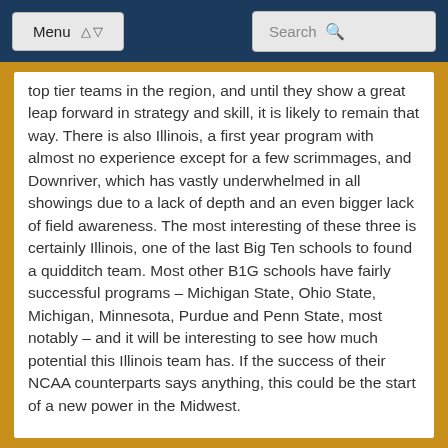Menu | Search
top tier teams in the region, and until they show a great leap forward in strategy and skill, it is likely to remain that way. There is also Illinois, a first year program with almost no experience except for a few scrimmages, and Downriver, which has vastly underwhelmed in all showings due to a lack of depth and an even bigger lack of field awareness. The most interesting of these three is certainly Illinois, one of the last Big Ten schools to found a quidditch team. Most other B1G schools have fairly successful programs – Michigan State, Ohio State, Michigan, Minnesota, Purdue and Penn State, most notably – and it will be interesting to see how much potential this Illinois team has. If the success of their NCAA counterparts says anything, this could be the start of a new power in the Midwest.